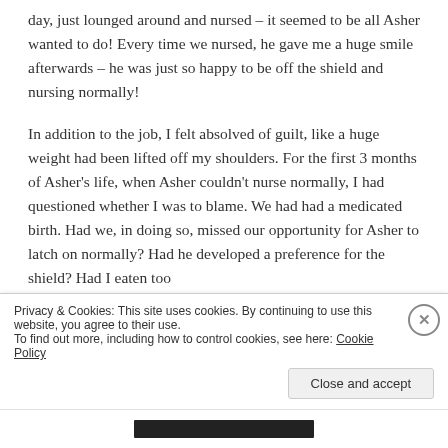day, just lounged around and nursed – it seemed to be all Asher wanted to do! Every time we nursed, he gave me a huge smile afterwards – he was just so happy to be off the shield and nursing normally!
In addition to the job, I felt absolved of guilt, like a huge weight had been lifted off my shoulders. For the first 3 months of Asher's life, when Asher couldn't nurse normally, I had questioned whether I was to blame. We had had a medicated birth. Had we, in doing so, missed our opportunity for Asher to latch on normally? Had he developed a preference for the shield? Had I eaten too
Privacy & Cookies: This site uses cookies. By continuing to use this website, you agree to their use.
To find out more, including how to control cookies, see here: Cookie Policy
Close and accept